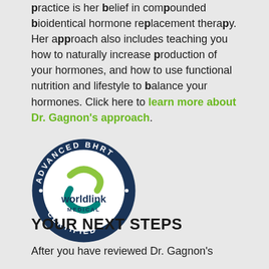practice is her belief in compounded bioidentical hormone replacement therapy. Her approach also includes teaching you how to naturally increase production of your hormones, and how to use functional nutrition and lifestyle to balance your hormones. Click here to learn more about Dr. Gagnon's approach.
[Figure (logo): WorldLink Medical Advanced BHRT Certified circular badge/seal with dark navy border and green and teal swirl logo in the center]
YOUR NEXT STEPS
After you have reviewed Dr. Gagnon's